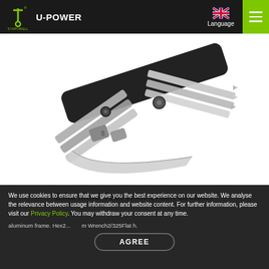U-POWER — SYNPOWELL header with logo, language selector, and menu
[Figure (photo): Close-up product photo of a multi-tool bike repair tool showing hex keys, screwdriver bits, chain breaker, and a small blade, on a white background.]
Bike Multi Tool With Chain Breaker
We use cookies to ensure that we give you the best experience on our website. We analyse the relevance between usage information and website content. For further information, please visit our Privacy Policy. You may withdraw your consent at any time.
aluminum frame. Hex2... ...m Wrench2/325Flat h. Stoke wrench 1405 (b... ...d for 7-11 speed chain.